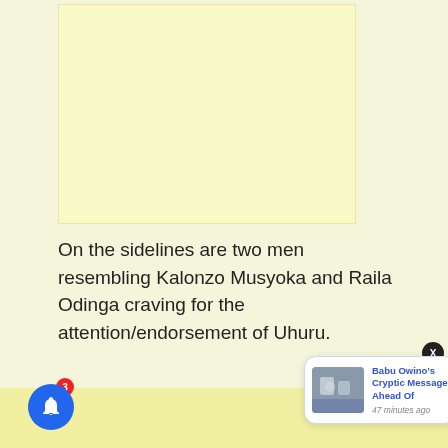[Figure (other): Advertisement placeholder box with light yellow background]
On the sidelines are two men resembling Kalonzo Musyoka and Raila Odinga craving for the attention/endorsement of Uhuru.
[Figure (other): Push notification popup showing 'Babu Owino's Cryptic Message Ahead Of' with a thumbnail image, posted 47 minutes ago, with a close X button and a blue bell notification icon with red badge showing 3]